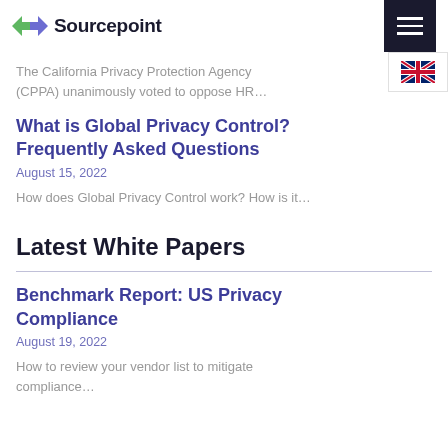Sourcepoint
The California Privacy Protection Agency (CPPA) unanimously voted to oppose HR…
What is Global Privacy Control? Frequently Asked Questions
August 15, 2022
How does Global Privacy Control work? How is it…
Latest White Papers
Benchmark Report: US Privacy Compliance
August 19, 2022
How to review your vendor list to mitigate compliance…